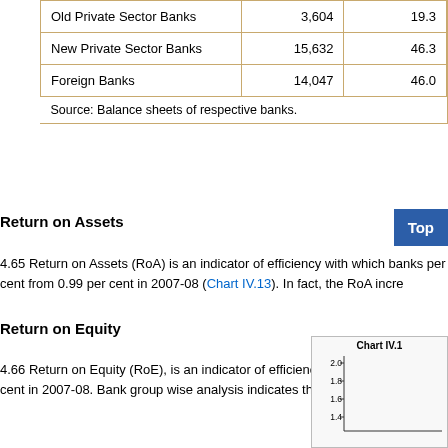|  |  |  |
| --- | --- | --- |
| Old Private Sector Banks | 3,604 | 19.3 |
| New Private Sector Banks | 15,632 | 46.3 |
| Foreign Banks | 14,047 | 46.0 |
Return on Assets
4.65 Return on Assets (RoA) is an indicator of efficiency with which banks per cent from 0.99 per cent in 2007-08 (Chart IV.13). In fact, the RoA incre
Return on Equity
4.66 Return on Equity (RoE), is an indicator of efficiency with which capit per cent in 2007-08. Bank group wise analysis indicates that the RoE of al
[Figure (line-chart): Partial chart visible showing y-axis with values 1.4, 1.6, 1.8, 2.0 (per cent)]